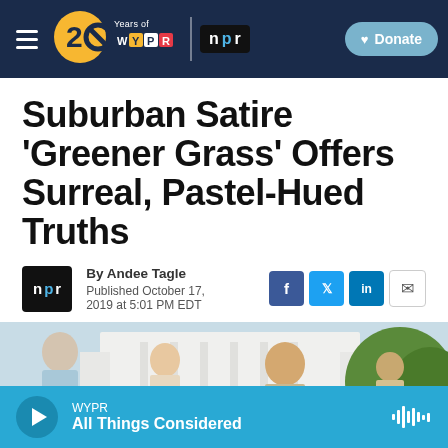WYPR 20 Years of WYPR | NPR | Donate
Suburban Satire 'Greener Grass' Offers Surreal, Pastel-Hued Truths
By Andee Tagle
Published October 17, 2019 at 5:01 PM EDT
[Figure (photo): People standing outside, appears to be a suburban family scene from the film Greener Grass]
WYPR | All Things Considered